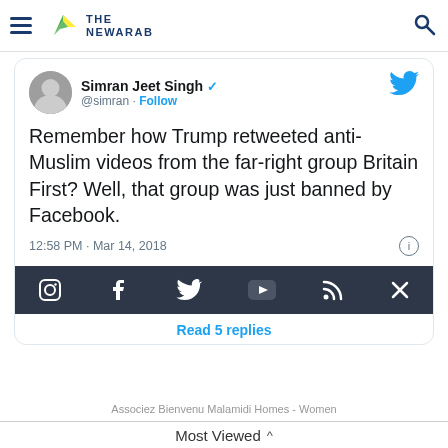THE NEWARAB
[Figure (screenshot): Embedded tweet from @simran (Simran Jeet Singh, verified) showing tweet text: 'Remember how Trump retweeted anti-Muslim videos from the far-right group Britain First? Well, that group was just banned by Facebook.' Posted at 12:58 PM · Mar 14, 2018. Social media sharing bar with Instagram, Facebook, Twitter, YouTube, RSS, and close icons. Read 5 replies link.]
Associez Bienvenu Malamidi Homes - Women
Most Viewed ^